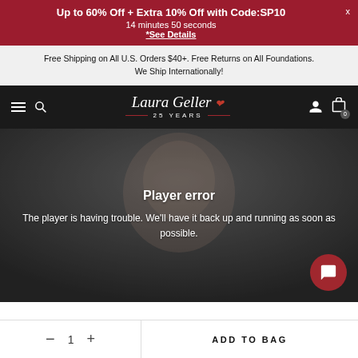Up to 60% Off + Extra 10% Off with Code:SP10
14 minutes 50 seconds
*See Details
Free Shipping on All U.S. Orders $40+. Free Returns on All Foundations. We Ship Internationally!
[Figure (logo): Laura Geller 25 Years logo on black navigation bar with hamburger menu, search icon, user icon and cart icon]
Player error
The player is having trouble. We'll have it back up and running as soon as possible.
— 1 +
ADD TO BAG